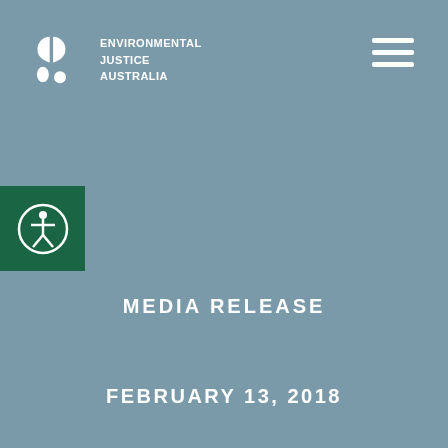[Figure (logo): Environmental Justice Australia logo with leaf and droplet icons in white, and organization name text]
[Figure (other): Hamburger menu icon (three horizontal white lines) in top right corner]
[Figure (other): Green square accessibility button on left edge with white human figure in circle icon]
MEDIA RELEASE
FEBRUARY 13, 2018